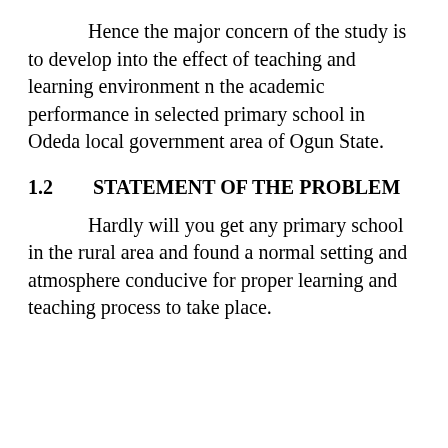Hence the major concern of the study is to develop into the effect of teaching and learning environment n the academic performance in selected primary school in Odeda local government area of Ogun State.
1.2        STATEMENT OF THE PROBLEM
Hardly will you get any primary school in the rural area and found a normal setting and atmosphere conducive for proper learning and teaching process to take place.